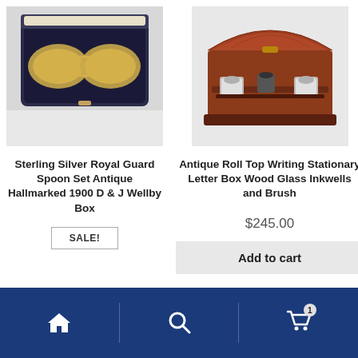[Figure (photo): Sterling silver spoon set in a dark navy velvet-lined box, two gold-toned circular pieces with ornate chain connectors, displayed open]
[Figure (photo): Antique roll top wooden writing box with glass inkwells and compartments, warm reddish-brown wood with brass fittings, open lid showing interior]
Sterling Silver Royal Guard Spoon Set Antique Hallmarked 1900 D & J Wellby Box
Antique Roll Top Writing Stationary Letter Box Wood Glass Inkwells and Brush
SALE!
$245.00
Add to cart
Home | Search | Cart (1)